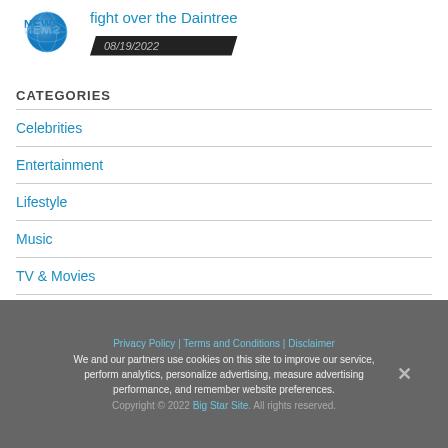[Figure (logo): News globe logo with blue 'NEWS' text and reflection]
fight over the Daintree
08/19/2022
CATEGORIES
Celebrities
Entertainment
Lifestyle
Music
TV & Movies
Privacy Policy | Terms and Conditions | Disclaimer
We and our partners use cookies on this site to improve our service, perform analytics, personalize advertising, measure advertising performance, and remember website preferences.
Copyright © 2022 Big Star Site. All rights reserved.